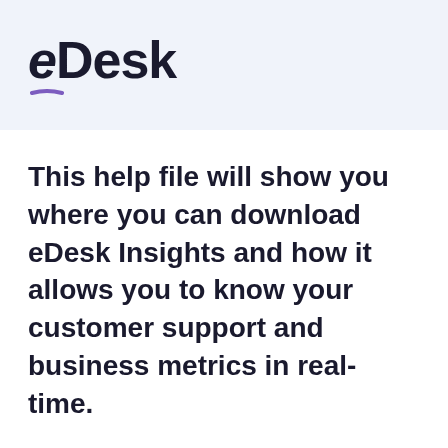[Figure (logo): eDesk logo with italic lowercase 'e' followed by 'Desk' in bold, with a purple arc underline beneath the 'e']
This help file will show you where you can download eDesk Insights and how it allows you to know your customer support and business metrics in real-time.
Before you start